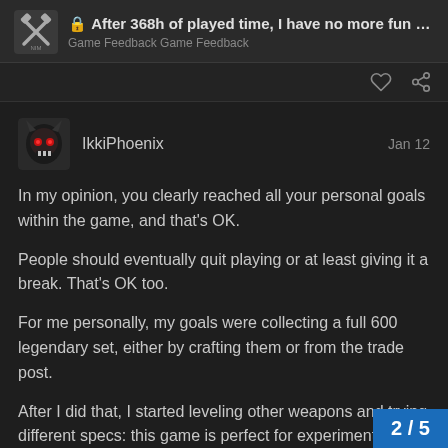After 368h of played time, I have no more fun … Game Feedback  Game Feedback
In my opinion, you clearly reached all your personal goals within the game, and that's OK.

People should eventually quit playing or at least giving it a break. That's OK too.

For me personally, my goals were collecting a full 600 legendary set, either by crafting them or from the trade post.

After I did that, I started leveling other weapons and trying different specs: this game is perfect for experimenting different playstyles.

And now I'm in a quest to grind all pro[...]
2 / 5